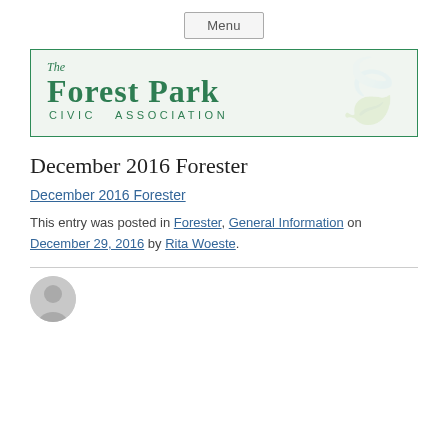Menu
[Figure (logo): The Forest Park Civic Association logo — green serif text on light green background with leaf watermark, bordered in green.]
December 2016 Forester
December 2016 Forester
This entry was posted in Forester, General Information on December 29, 2016 by Rita Woeste.